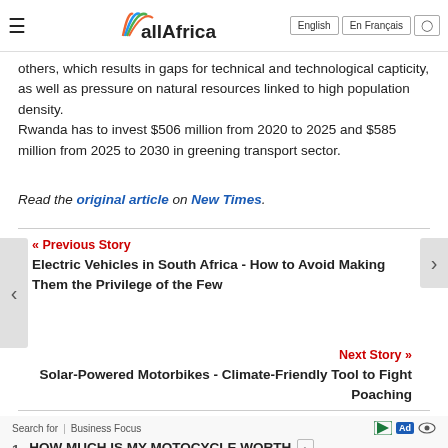allAfrica
others, which results in gaps for technical and technological capticity, as well as pressure on natural resources linked to high population density.
Rwanda has to invest $506 million from 2020 to 2025 and $585 million from 2025 to 2030 in greening transport sector.
Read the original article on New Times.
« Previous Story
Electric Vehicles in South Africa - How to Avoid Making Them the Privilege of the Few
Next Story »
Solar-Powered Motorbikes - Climate-Friendly Tool to Fight Poaching
Search for | Business Focus
1. HOW MUCH IS MY MOTOCYCLE WORTH